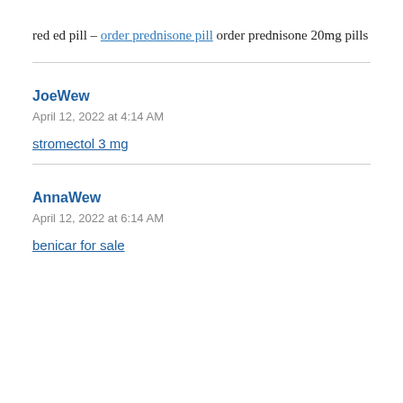red ed pill – order prednisone pill order prednisone 20mg pills
JoeWew
April 12, 2022 at 4:14 AM
stromectol 3 mg
AnnaWew
April 12, 2022 at 6:14 AM
benicar for sale